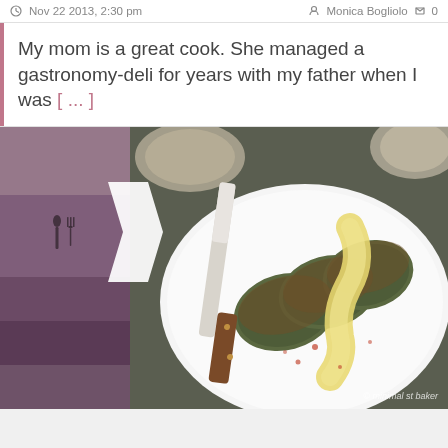Nov 22 2013, 2:30 pm   Monica Bogliolo  0
My mom is a great cook. She managed a gastronomy-deli for years with my father when I was [ ... ]
[Figure (photo): Food photograph showing green herb/spinach fritters or falafel patties with creamy yellow sauce drizzled on top and red spice, served on a white plate with a palette knife/spreader beside them. A small bowl is visible in background. Decorative mauve/purple left panel with fork and spoon icon and a white chevron arrow.]